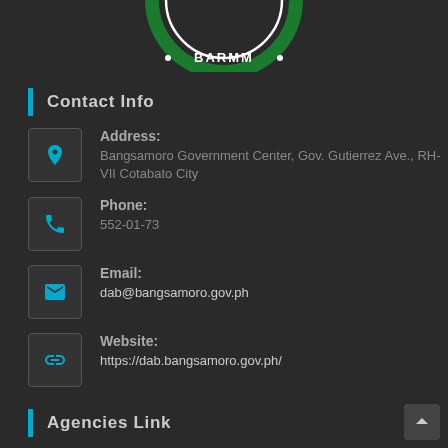[Figure (logo): BARMM circular logo, green border with text, partially visible at top]
Contact Info
Address: Bangsamoro Government Center, Gov. Gutierrez Ave., RH-VII Cotabato City
Phone: 552-01-73
Email: dab@bangsamoro.gov.ph
Website: https://dab.bangsamoro.gov.ph/
Agencies Link